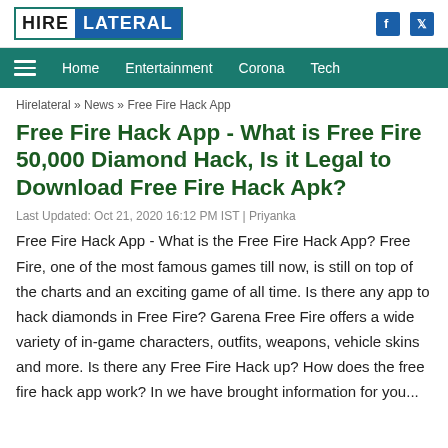HIRE LATERAL
Home | Entertainment | Corona | Tech
Hirelateral » News » Free Fire Hack App
Free Fire Hack App - What is Free Fire 50,000 Diamond Hack, Is it Legal to Download Free Fire Hack Apk?
Last Updated: Oct 21, 2020 16:12 PM IST | Priyanka
Free Fire Hack App - What is the Free Fire Hack App? Free Fire, one of the most famous games till now, is still on top of the charts and an exciting game of all time. Is there any app to hack diamonds in Free Fire? Garena Free Fire offers a wide variety of in-game characters, outfits, weapons, vehicle skins and more. Is there any Free Fire Hack up? How does the free fire hack app work? In we have brought information for you...